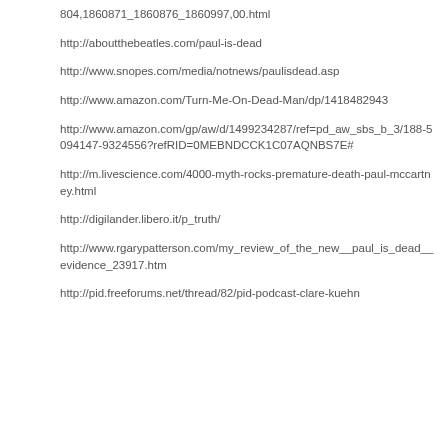804,1860871_1860876_1860997,00.html
http://aboutthebeatles.com/paul-is-dead
http://www.snopes.com/media/notnews/paulisdead.asp
http://www.amazon.com/Turn-Me-On-Dead-Man/dp/1418482943
http://www.amazon.com/gp/aw/d/1499234287/ref=pd_aw_sbs_b_3/188-5094147-9324556?refRID=0MEBNDCCK1C07AQNBS7E#
http://m.livescience.com/4000-myth-rocks-premature-death-paul-mccartney.html
http://digilander.libero.it/p_truth/
http://www.rgarypatterson.com/my_review_of_the_new__paul_is_dead__evidence_23917.htm
http://pid.freeforums.net/thread/82/pid-podcast-clare-kuehn